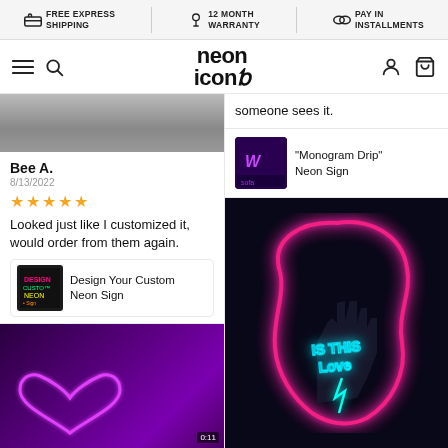FREE EXPRESS SHIPPING | 12 MONTH WARRANTY | PAY IN INSTALLMENTS
[Figure (logo): Neon Icons logo with hamburger menu and search icons on left, user and cart icons on right]
[Figure (photo): Gray/dark photo partially visible at top of left column]
Bee A.
8/13/2022
★★★★★
Looked just like I customized it, would order from them again.
[Figure (photo): Product thumbnail for Design Your Custom Neon Sign]
Design Your Custom Neon Sign
[Figure (photo): Video thumbnail showing pink neon heart on purple background, duration 0:11]
someone sees it.
[Figure (photo): Product thumbnail showing Monogram Drip neon sign in purple room]
"Monogram Drip" Neon Sign
[Figure (photo): Dark background photo of pink neon sign reading IS THIS LOVE with hand silhouette and cyan lightning bolt]